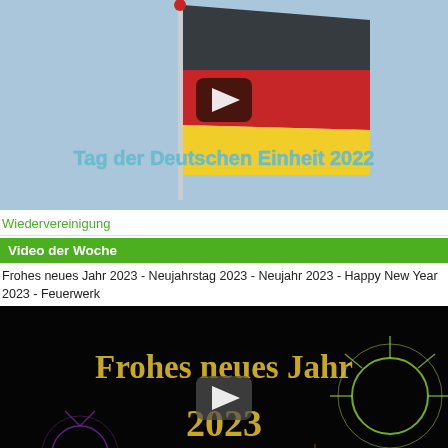[Figure (screenshot): Video thumbnail showing German flag with text 'Tag der Deutschen Einheit 2022' and a YouTube play button overlay]
Wiedervereinigung
Video der Woche
Frohes neues Jahr 2023 - Neujahrstag 2023 - Neujahr 2023 - Happy New Year 2023 - Feuerwerk
[Figure (screenshot): Video thumbnail with black background showing golden text 'Frohes neues Jahr 2023' with fireworks and a play button overlay]